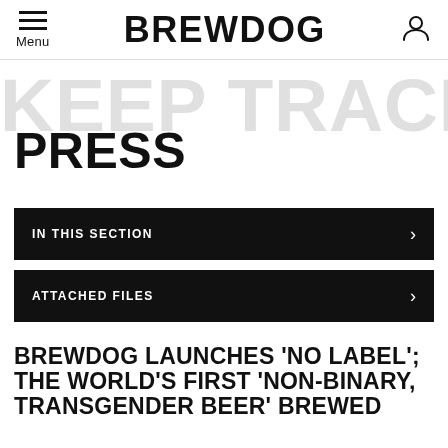Menu | BREWDOG
[Figure (screenshot): BrewDog website press page with hero banner showing 'KEEP TRACK OF M...' watermark text and large 'PRESS' heading]
IN THIS SECTION
ATTACHED FILES
BREWDOG LAUNCHES 'NO LABEL'; THE WORLD'S FIRST 'NON-BINARY, TRANSGENDER BEER' BREWED